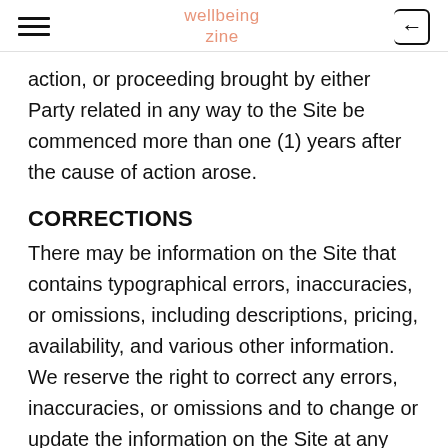wellbeing zine
action, or proceeding brought by either Party related in any way to the Site be commenced more than one (1) years after the cause of action arose.
CORRECTIONS
There may be information on the Site that contains typographical errors, inaccuracies, or omissions, including descriptions, pricing, availability, and various other information. We reserve the right to correct any errors, inaccuracies, or omissions and to change or update the information on the Site at any time, without prior notice.